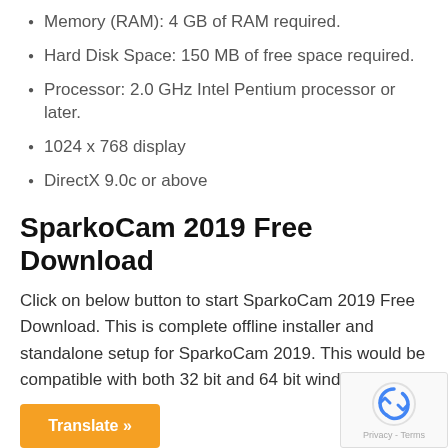Memory (RAM): 4 GB of RAM required.
Hard Disk Space: 150 MB of free space required.
Processor: 2.0 GHz Intel Pentium processor or later.
1024 x 768 display
DirectX 9.0c or above
SparkoCam 2019 Free Download
Click on below button to start SparkoCam 2019 Free Download. This is complete offline installer and standalone setup for SparkoCam 2019. This would be compatible with both 32 bit and 64 bit windows.